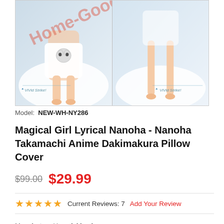[Figure (illustration): Two-panel product image of an anime dakimakura (body pillow cover) showing 'ViVid Strike!' character in white clothing on a light blue/white background. Watermark text 'Home-Goodnight.Co' in red is overlaid diagonally across both panels.]
Model:  NEW-WH-NY286
Magical Girl Lyrical Nanoha - Nanoha Takamachi Anime Dakimakura Pillow Cover
$99.00  $29.99
★★★★★  Current Reviews: 7  Add Your Review
Manufactured by:  dakimakura
FREE SHIPPING ON ALL ORDERS